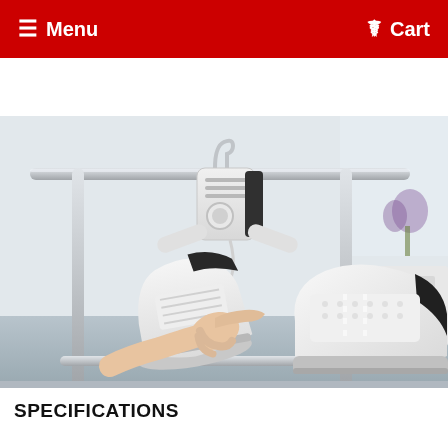Menu | Cart
...the hanger automatically switches to cold ensure it doesn't o... $55.95 [BUY IT NOW]
[Figure (photo): A hand pressing the button on an electric shoe dryer device that is hanging from a metal rail/rack. Two white sneakers with black accents are attached to the dryer nozzles.]
SPECIFICATIONS